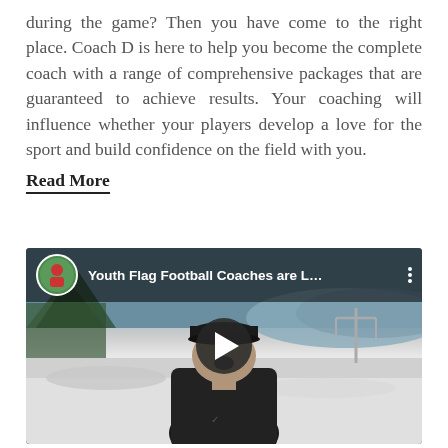during the game? Then you have come to the right place. Coach D is here to help you become the complete coach with a range of comprehensive packages that are guaranteed to achieve results. Your coaching will influence whether your players develop a love for the sport and build confidence on the field with you.
Read More
[Figure (screenshot): YouTube video player thumbnail showing a man in a dark baseball cap and Nike jacket speaking outdoors in a snowy setting. The video title reads 'Youth Flag Football Coaches are L...' with a circular avatar of a person in a red shirt on the left. A play button is centered on the video.]